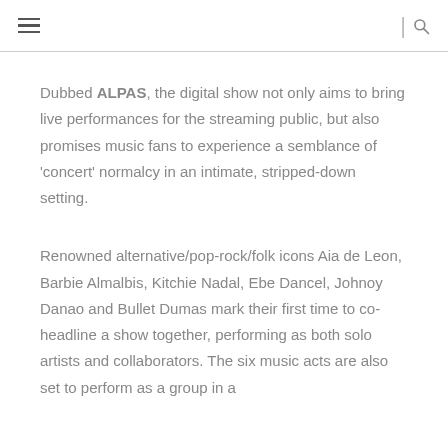≡ | 🔍
Dubbed ALPAS, the digital show not only aims to bring live performances for the streaming public, but also promises music fans to experience a semblance of 'concert' normalcy in an intimate, stripped-down setting.
Renowned alternative/pop-rock/folk icons Aia de Leon, Barbie Almalbis, Kitchie Nadal, Ebe Dancel, Johnoy Danao and Bullet Dumas mark their first time to co-headline a show together, performing as both solo artists and collaborators. The six music acts are also set to perform as a group in a